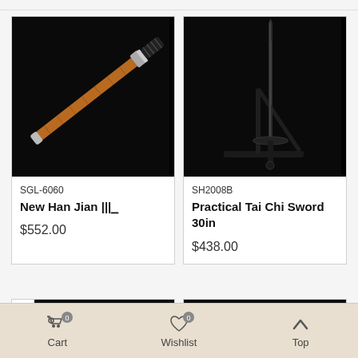[Figure (photo): Product photo of New Han Jian sword on black background, diagonal orientation, brown wrapped handle and black grip]
SGL-6060
New Han Jian
$552.00
[Figure (photo): Product photo of Practical Tai Chi Sword 30in on black background, sword displayed vertically on a stand]
SH2008B
Practical Tai Chi Sword 30in
$438.00
[Figure (photo): Partial product photo, mostly black with partial sword visible]
[Figure (photo): Partial product photo, black background]
Cart  Wishlist  Top